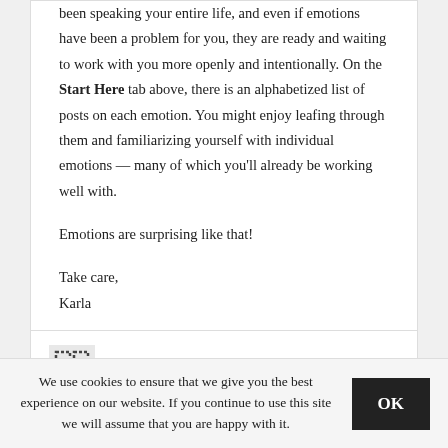been speaking your entire life, and even if emotions have been a problem for you, they are ready and waiting to work with you more openly and intentionally. On the Start Here tab above, there is an alphabetized list of posts on each emotion. You might enjoy leafing through them and familiarizing yourself with individual emotions — many of which you'll already be working well with.

Emotions are surprising like that!

Take care,
Karla
Troubled
November 20, 2018 | Reply
We use cookies to ensure that we give you the best experience on our website. If you continue to use this site we will assume that you are happy with it.